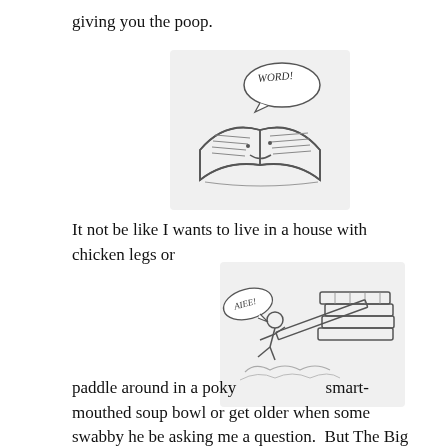giving you the poop.
[Figure (illustration): A cartoon open book with a face, saying 'WORD!' in a speech bubble]
It not be like I wants to live in a house with chicken legs or
[Figure (illustration): A cartoon figure saying 'AIEE!' being hit by a stack of books, with water splashing below]
paddle around in a poky                    smart-mouthed soup bowl or get older when some swabby he be asking me a question.  But The Big Book says I gots to. When I be a witchling I goes, “Fie! I grabs that Big Book and makes it walk the plank.”